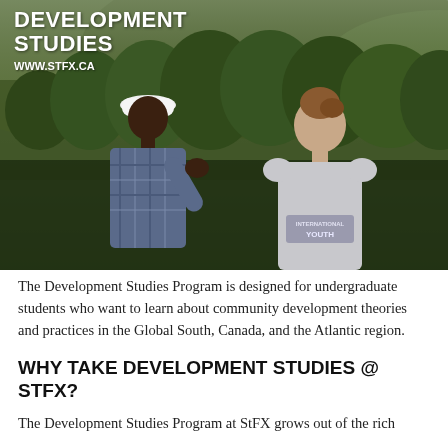[Figure (photo): Two people standing outdoors against a forested hillside background. One person, seen from behind, wears a plaid shirt and white hat. The other person, a young woman with her hair up, faces toward the first person and wears a grey sweatshirt with 'INTERNATIONAL YOUTH' printed on the back.]
DEVELOPMENT STUDIES
WWW.STFX.CA
The Development Studies Program is designed for undergraduate students who want to learn about community development theories and practices in the Global South, Canada, and the Atlantic region.
WHY TAKE DEVELOPMENT STUDIES @ STFX?
The Development Studies Program at StFX grows out of the rich